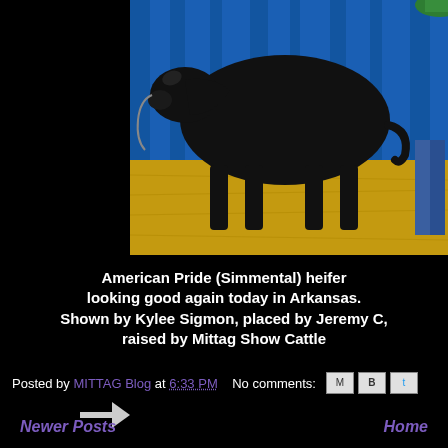[Figure (photo): Black Simmental show heifer standing on straw/sawdust floor in front of a blue curtain backdrop, being shown at a livestock show in Arkansas]
American Pride (Simmental) heifer looking good again today in Arkansas. Shown by Kylee Sigmon, placed by Jeremy C, raised by Mittag Show Cattle
Posted by MITTAG Blog at 6:33 PM   No comments:
Newer Posts    Home